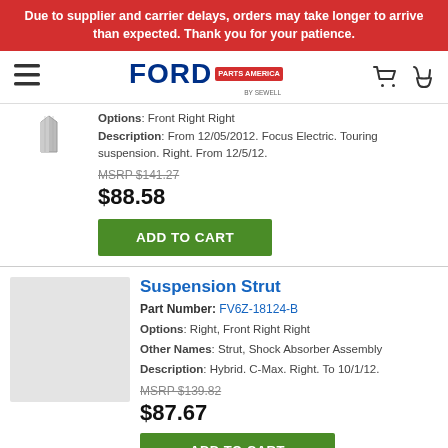Due to supplier and carrier delays, orders may take longer to arrive than expected. Thank you for your patience.
[Figure (logo): Ford Parts America by Sewell logo with navigation icons]
Options: Front Right Right
Description: From 12/05/2012. Focus Electric. Touring suspension. Right. From 12/5/12.
MSRP $141.27
$88.58
ADD TO CART
Suspension Strut
Part Number: FV6Z-18124-B
Options: Right, Front Right Right
Other Names: Strut, Shock Absorber Assembly
Description: Hybrid. C-Max. Right. To 10/1/12.
MSRP $139.82
$87.67